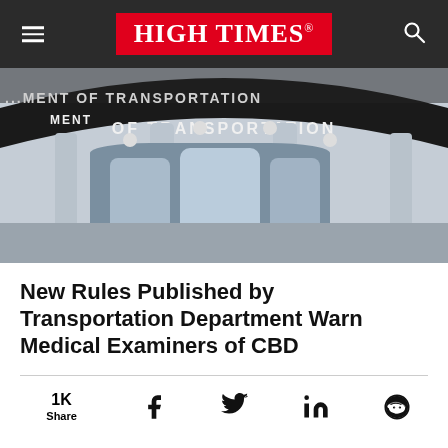HIGH TIMES
[Figure (photo): Exterior of the U.S. Department of Transportation building, showing curved facade with large lettering reading 'DEPARTMENT OF TRANSPORTATION', glass entrance, and pillars.]
New Rules Published by Transportation Department Warn Medical Examiners of CBD
1K Share (social share bar with Facebook, Twitter, LinkedIn, and Reddit icons)